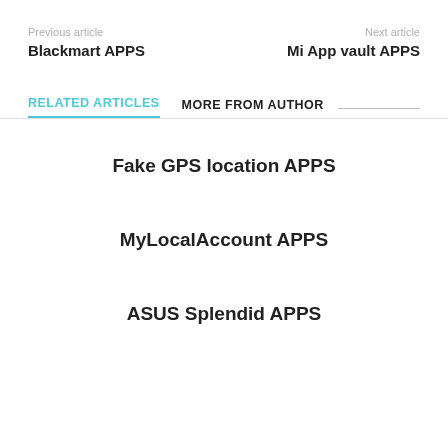Previous article | Blackmart APPS | Next article | Mi App vault APPS
RELATED ARTICLES   MORE FROM AUTHOR
Fake GPS location APPS
MyLocalAccount APPS
ASUS Splendid APPS